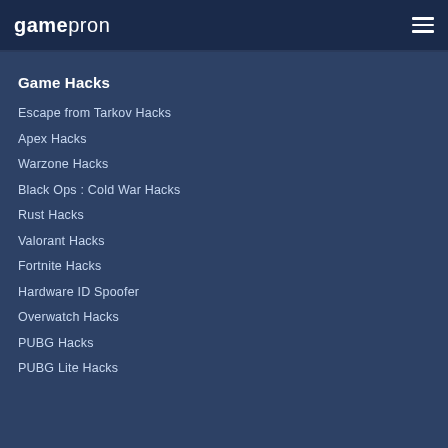gamepron
Game Hacks
Escape from Tarkov Hacks
Apex Hacks
Warzone Hacks
Black Ops : Cold War Hacks
Rust Hacks
Valorant Hacks
Fortnite Hacks
Hardware ID Spoofer
Overwatch Hacks
PUBG Hacks
PUBG Lite Hacks